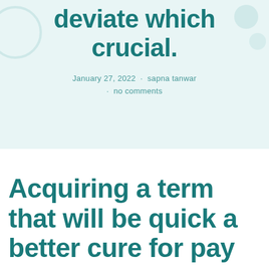deviate which crucial.
January 27, 2022 · sapna tanwar · no comments
Acquiring a term that will be quick a better cure for pay